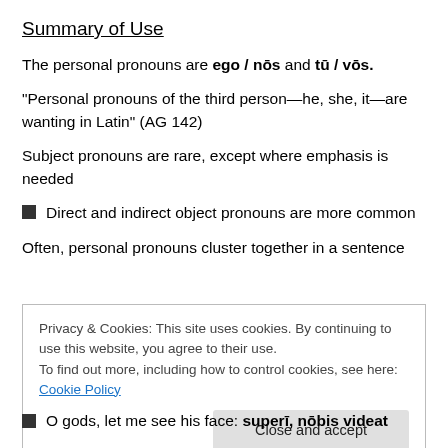Summary of Use
The personal pronouns are ego / nōs and tū / vōs.
“Personal pronouns of the third person—he, she, it—are wanting in Latin” (AG 142)
Subject pronouns are rare, except where emphasis is needed
Direct and indirect object pronouns are more common
Often, personal pronouns cluster together in a sentence
Privacy & Cookies: This site uses cookies. By continuing to use this website, you agree to their use.
To find out more, including how to control cookies, see here: Cookie Policy
O gods, let me see his face: superī, nōbis videat